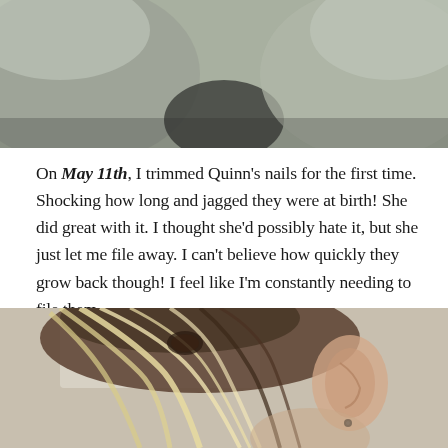[Figure (photo): Close-up photo of a baby or person in grey clothing, showing hands/nails area]
On May 11th, I trimmed Quinn's nails for the first time. Shocking how long and jagged they were at birth! She did great with it. I thought she'd possibly hate it, but she just let me file away. I can't believe how quickly they grow back though! I feel like I'm constantly needing to file them.
[Figure (photo): Close-up photo of a person with blonde highlighted hair pulled up, showing their ear with a small earring]